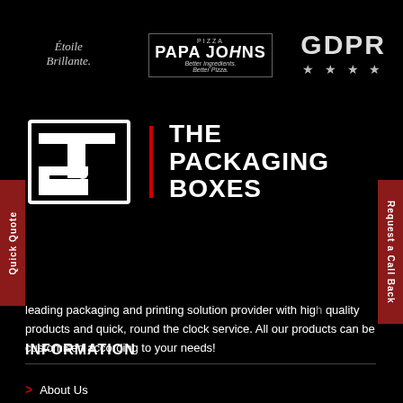[Figure (logo): Étoile Brillante cursive script logo in light grey on black background]
[Figure (logo): Papa John's Pizza logo with 'PIZZA' at top, 'PAPA JOHNS' in large bold text, 'Better Ingredients. Better Pizza.' tagline, bordered circular design]
[Figure (logo): GDPR logo in large grey bold text with four stars beneath]
[Figure (logo): The Packaging Boxes logo: TPB monogram with geometric shapes on left, red vertical divider, 'THE PACKAGING BOXES' wordmark in bold white]
leading packaging and printing solution provider with high quality products and quick, round the clock service. All our products can be customised according to your needs!
INFORMATION
About Us